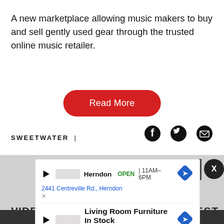A new marketplace allowing music makers to buy and sell gently used gear through the trusted online music retailer.
[Figure (other): Red rounded-rectangle 'Read More' button]
[Figure (other): Social media icons: Facebook circle, Twitter bird, Email envelope]
SWEETWATER |
[Figure (screenshot): Web advertisement overlay showing two ads: 1) Herndon location OPEN 11AM-6PM, 2441 Centreville Rd., Herndon. 2) Living Room Furniture In Stock - Furniture Max. Both with diamond navigation icons. Background is dark gray section with VIDE... and ...TEST text visible.]